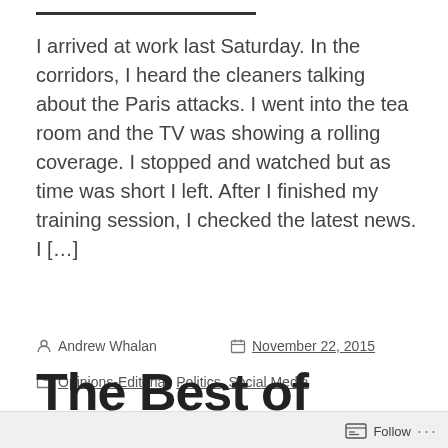I arrived at work last Saturday. In the corridors, I heard the cleaners talking about the Paris attacks. I went into the tea room and the TV was showing a rolling coverage. I stopped and watched but as time was short I left. After I finished my training session, I checked the latest news. I […]
Andrew Whalan   November 22, 2015
Opinions-Editorial, Politics, Social Media
BATALAN, beirut, ben carson, donald trump, fahrenheit 451, mali, Media, paris attacks, ray bradbury, sinai
The Best of